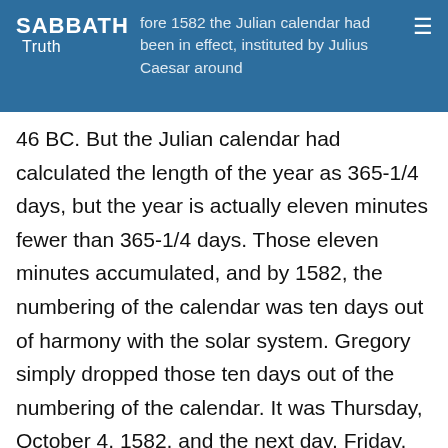SABBATH Truth
fore 1582 the Julian calendar had been in effect, instituted by Julius Caesar around 46 BC. But the Julian calendar had calculated the length of the year as 365-1/4 days, but the year is actually eleven minutes fewer than 365-1/4 days. Those eleven minutes accumulated, and by 1582, the numbering of the calendar was ten days out of harmony with the solar system. Gregory simply dropped those ten days out of the numbering of the calendar. It was Thursday, October 4, 1582, and the next day, Friday, should have been October 5. But Gregory made it October 15 instead, dropping exactly ten days to